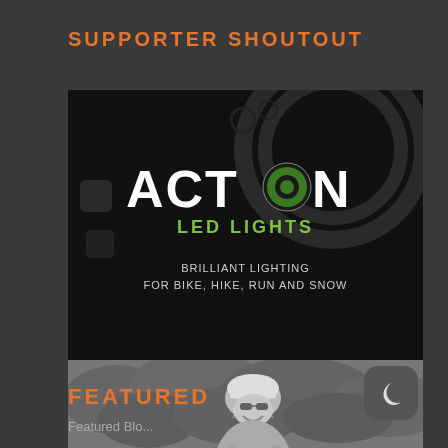SUPPORTER SHOUTOUT
[Figure (logo): Action LED Lights logo advertisement — black background with circular gear/lens graphic, large white text 'ACTION' with green circular O logo icon, green text 'LED LIGHTS' below, and white text 'BRILLIANT LIGHTING FOR BIKE, HIKE, RUN AND SNOW' at the bottom.]
[Figure (photo): BerkshireGinsberg Bicycle Attorney advertisement — black and white photo of a cyclist wearing a helmet and jersey, smiling; below is a dark red/maroon banner with white text 'BerkshireGinsberg' and 'Bicycle Attorney'.]
FEATURED
Featured Blog...